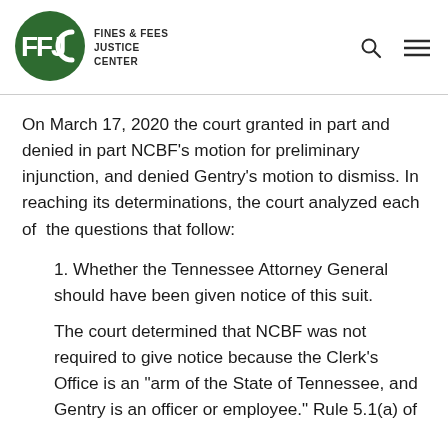[Figure (logo): Fines & Fees Justice Center logo: green circle with FFJC letters in white, followed by text FINES & FEES JUSTICE CENTER]
On March 17, 2020 the court granted in part and denied in part NCBF's motion for preliminary injunction, and denied Gentry's motion to dismiss. In reaching its determinations, the court analyzed each of the questions that follow:
1. Whether the Tennessee Attorney General should have been given notice of this suit.
The court determined that NCBF was not required to give notice because the Clerk's Office is an "arm of the State of Tennessee, and Gentry is an officer or employee." Rule 5.1(a) of